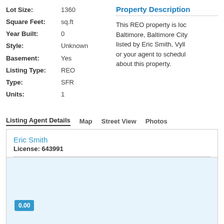Lot Size: 1360
Square Feet: sq.ft
Year Built: 0
Style: Unknown
Basement: Yes
Listing Type: REO
Type: SFR
Units: 1
Property Description
This REO property is located in Baltimore, Baltimore City. listed by Eric Smith, Vyll... or your agent to schedule ... about this property.
Listing Agent Details   Map   Street View   Photos
Eric Smith
License: 643991
0.00